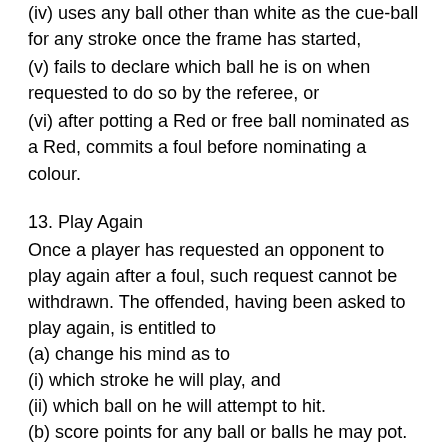(iv) uses any ball other than white as the cue-ball for any stroke once the frame has started,
(v) fails to declare which ball he is on when requested to do so by the referee, or
(vi) after potting a Red or free ball nominated as a Red, commits a foul before nominating a colour.
13. Play Again
Once a player has requested an opponent to play again after a foul, such request cannot be withdrawn. The offended, having been asked to play again, is entitled to
(a) change his mind as to
(i) which stroke he will play, and
(ii) which ball on he will attempt to hit.
(b) score points for any ball or balls he may pot.
14. Foul and a Miss
The striker shall, to the best of his ability, endeavour